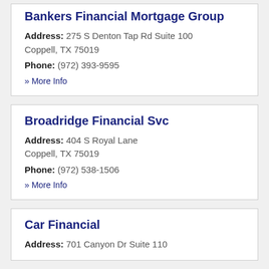Bankers Financial Mortgage Group
Address: 275 S Denton Tap Rd Suite 100 Coppell, TX 75019
Phone: (972) 393-9595
» More Info
Broadridge Financial Svc
Address: 404 S Royal Lane Coppell, TX 75019
Phone: (972) 538-1506
» More Info
Car Financial
Address: 701 Canyon Dr Suite 110